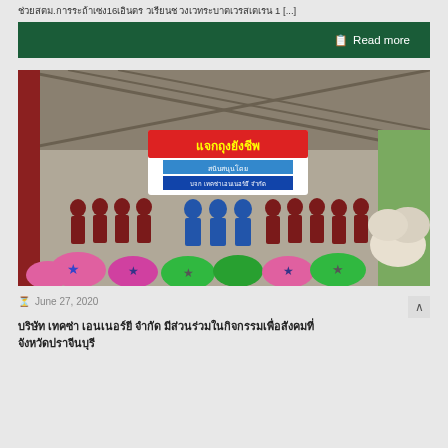ช่วยสตม.การประถ้าเซง16เอินตร วเรียนช วงเวทระบาตเวรสเตเรน 1 [...]
Read more
[Figure (photo): Group photo of people wearing masks indoors at a community event, with colorful bags in the foreground and a banner reading 'แจกถุงยังชีพ' (distributing survival bags), supported by a company. People are standing in rows wearing dark red uniforms and masks.]
June 27, 2020
บริษัท เทคซ่า เอนเนอร์ยี จำกัด มีส่วนร่วมในกิจกรรมเพื่อสังคมที่จังหวัดปราจีนบุรี